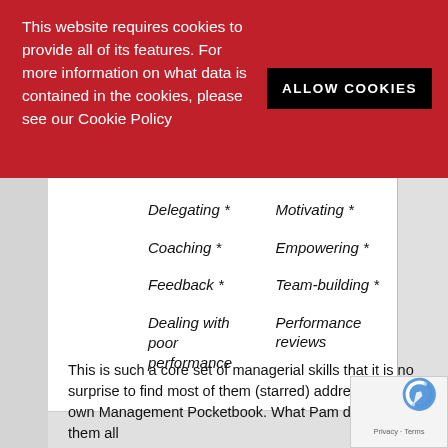This website requires cookies to provide all of its features. For more information on what data is contained in the cookies, please see our Cookie Policy
Delegating *
Coaching *
Feedback *
Dealing with poor performance
Motivating *
Empowering *
Team-building *
Performance reviews
This is such a core set of managerial skills that it is no surprise to find most of them (starred) addressed by their own Management Pocketbook. What Pam does is bring them all